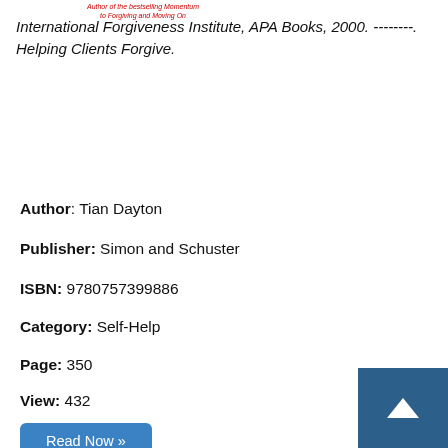[Figure (other): Small red italic text: Author of the bestselling Forgiving and Moving On]
International Forgiveness Institute, APA Books, 2000. --------. Helping Clients Forgive.
Author: Tian Dayton
Publisher: Simon and Schuster
ISBN: 9780757399886
Category: Self-Help
Page: 350
View: 432
[Figure (other): Blue button labeled 'Read Now »']
Forgiveness is not an event, it is a process. Forgiveness is most powerful when a reaches midlife: a natural time for reflection